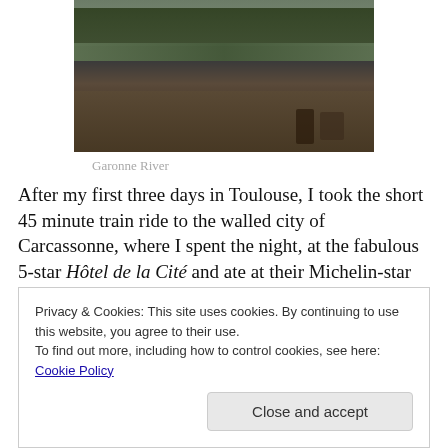[Figure (photo): Outdoor scene at the Garonne River in Toulouse, showing trees, a riverside path, people walking, a person with a stroller, and a domed building in the background.]
Garonne River
After my first three days in Toulouse, I took the short 45 minute train ride to the walled city of Carcassonne, where I spent the night, at the fabulous 5-star Hôtel de la Cité and ate at their Michelin-star restaurant, Barbacane, which I
Privacy & Cookies: This site uses cookies. By continuing to use this website, you agree to their use.
To find out more, including how to control cookies, see here: Cookie Policy
Close and accept